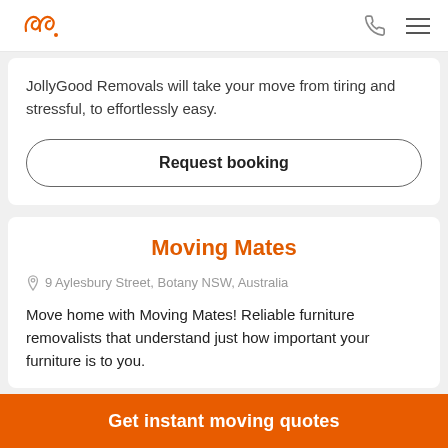[Figure (logo): JollyGood logo - orange cursive double-loop design with dot]
JollyGood Removals will take your move from tiring and stressful, to effortlessly easy.
Request booking
Moving Mates
9 Aylesbury Street, Botany NSW, Australia
Move home with Moving Mates! Reliable furniture removalists that understand just how important your furniture is to you.
Get instant moving quotes